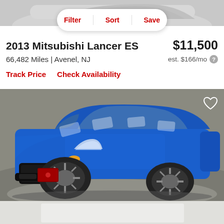[Figure (photo): Top portion of a white car visible at the very top of the page, cropped]
Filter | Sort | Save
2013 Mitsubishi Lancer ES
$11,500
66,482 Miles | Avenel, NJ
est. $166/mo ?
Track Price    Check Availability
[Figure (photo): Blue 2013 Mitsubishi Lancer ES parked on a showroom floor, front three-quarter view, with a red Mitsubishi dealer plate on the front bumper. Heart/favorite icon in upper right corner.]
[Figure (photo): Bottom white/light gray panel, partially visible at bottom of page]